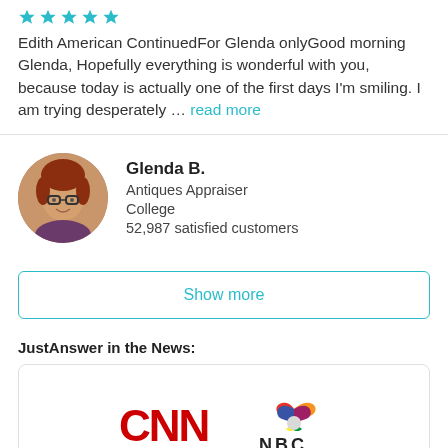[Figure (other): Five teal/cyan star rating icons]
Edith American ContinuedFor Glenda onlyGood morning Glenda, Hopefully everything is wonderful with you, because today is actually one of the first days I'm smiling. I am trying desperately … read more
[Figure (photo): Circular avatar photo of Glenda B., a woman with red hair and glasses]
Glenda B.
Antiques Appraiser
College
52,987 satisfied customers
Show more
JustAnswer in the News:
[Figure (logo): CNN and NBC logos side by side in a card]